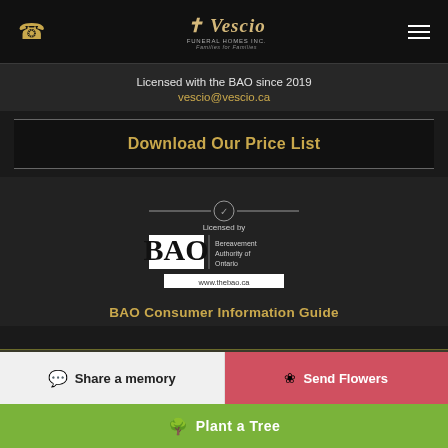Vescio Funeral Homes Inc. — Navigation bar with phone icon, logo, and menu icon
Licensed with the BAO since 2019
vescio@vescio.ca
Download Our Price List
[Figure (logo): BAO — Bereavement Authority of Ontario badge with checkmark, 'Licensed by' text, and www.thebao.ca URL]
BAO Consumer Information Guide
Share a memory
Send Flowers
Plant a Tree